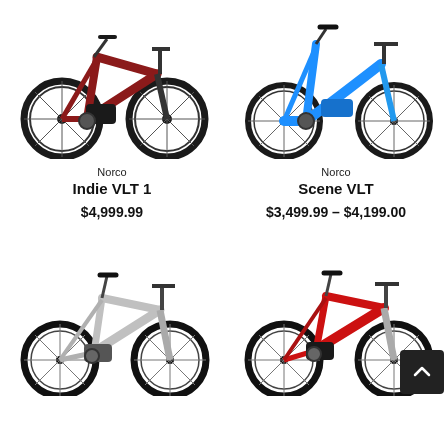[Figure (photo): Norco Indie VLT 1 electric bike in dark red/maroon color, mountain-style frame, large tires, disc brakes]
[Figure (photo): Norco Scene VLT electric bike in bright blue color, step-through frame, disc brakes]
Norco
Indie VLT 1
$4,999.99
Norco
Scene VLT
$3,499.99 – $4,199.00
[Figure (photo): Norco electric mountain bike in silver/white color, full suspension, wide tires]
[Figure (photo): Norco electric mountain bike in red color, full suspension, wide tires]